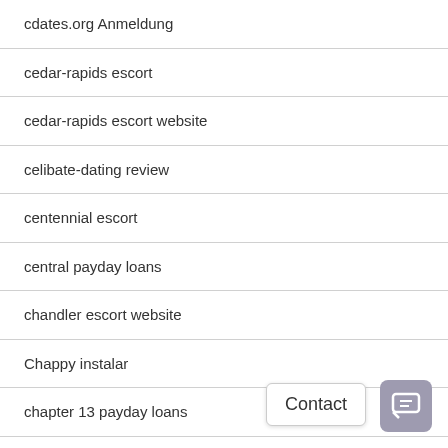cdates.org Anmeldung
cedar-rapids escort
cedar-rapids escort website
celibate-dating review
centennial escort
central payday loans
chandler escort website
Chappy instalar
chapter 13 payday loans
charleston USA reviews
charlotte escort
charlotte escort book
charlotte escort near me